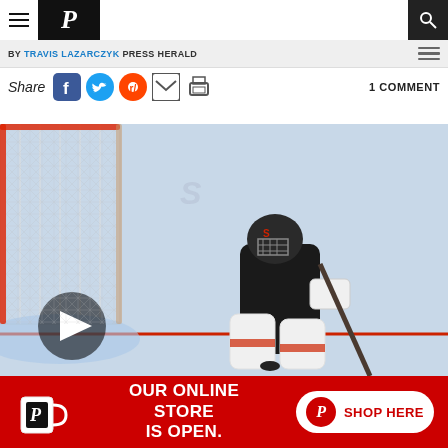Press Herald — navigation header with hamburger menu, logo P, and search icon
BY TRAVIS LAZARCZYK PRESS HERALD
Share  1 COMMENT
[Figure (photo): Hockey goalie in black uniform and helmet crouched in front of a net on an ice rink. A play button overlay appears at the bottom left.]
OUR ONLINE STORE IS OPEN. SHOP HERE